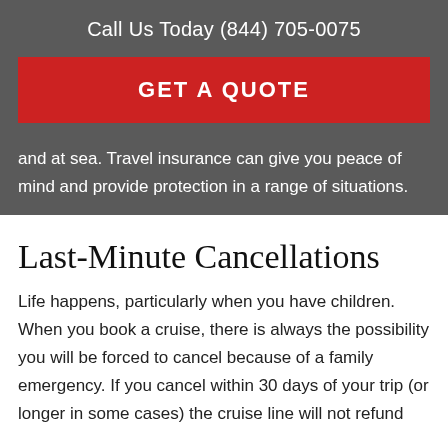Call Us Today (844) 705-0075
GET A QUOTE
and at sea. Travel insurance can give you peace of mind and provide protection in a range of situations.
Last-Minute Cancellations
Life happens, particularly when you have children. When you book a cruise, there is always the possibility you will be forced to cancel because of a family emergency. If you cancel within 30 days of your trip (or longer in some cases) the cruise line will not refund